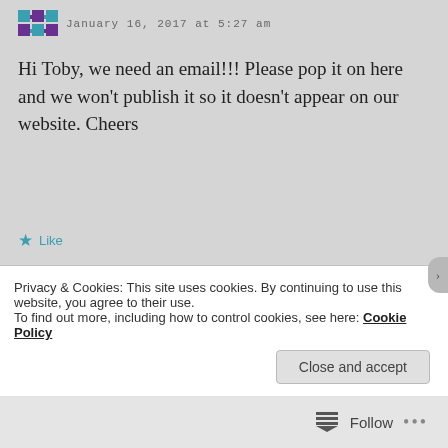[Figure (logo): Teal and purple mosaic avatar icon next to comment date 'January 16, 2017 at 5:27 am']
Hi Toby, we need an email!!! Please pop it on here and we won't publish it so it doesn't appear on our website. Cheers
Like
Reply
[Figure (logo): TOBY avatar - yellow and white diamond pattern mosaic square]
TOBY
January 16, 2017 at 7:23 pm
Privacy & Cookies: This site uses cookies. By continuing to use this website, you agree to their use.
To find out more, including how to control cookies, see here: Cookie Policy
Close and accept
Follow